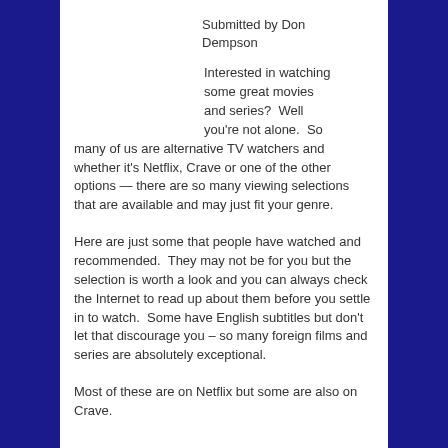Submitted by Don Dempson
Interested in watching some great movies and series?  Well you're not alone.  So many of us are alternative TV watchers and whether it's Netflix, Crave or one of the other options — there are so many viewing selections that are available and may just fit your genre.
Here are just some that people have watched and recommended.  They may not be for you but the selection is worth a look and you can always check the Internet to read up about them before you settle in to watch.  Some have English subtitles but don't let that discourage you – so many foreign films and series are absolutely exceptional.
Most of these are on Netflix but some are also on Crave.